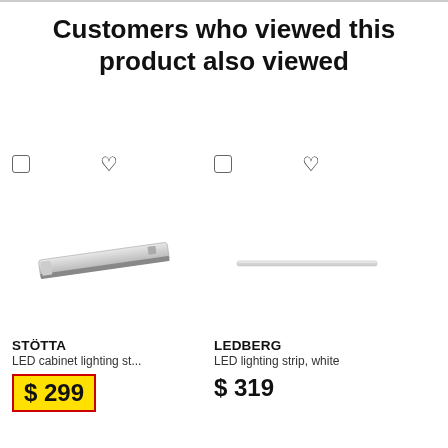Customers who viewed this product also viewed
[Figure (photo): STÖTTA LED cabinet lighting strip product photo]
[Figure (photo): LEDBERG LED lighting strip white product photo]
[Figure (photo): STÖTTA LED spotlight product photo (partially visible)]
STÖTTA
LED cabinet lighting st...
$ 299
LEDBERG
LED lighting strip, white
$ 319
STÖTTA
LED spotlig...
$ 199